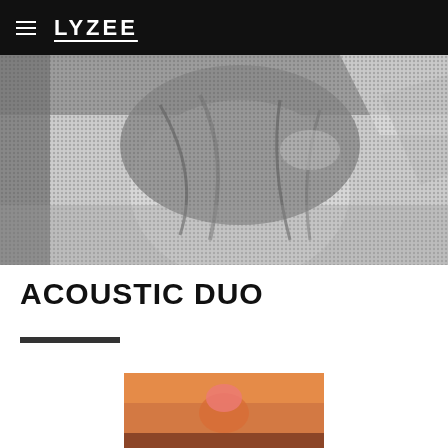LYZEE
[Figure (photo): Black and white halftone-style photograph of a person with windswept hair, hand raised to head, with diagonal light streaks in the background.]
ACOUSTIC DUO
[Figure (photo): Color photograph of a performer on stage with pink/orange lighting, partially visible at bottom of page.]